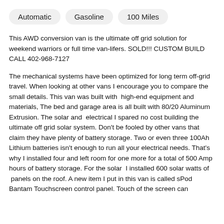Automatic
Gasoline
100 Miles
This AWD conversion van is the ultimate off grid solution for weekend warriors or full time van-lifers. SOLD!!! CUSTOM BUILD CALL 402-968-7127
The mechanical systems have been optimized for long term off-grid travel. When looking at other vans I encourage you to compare the small details. This van was built with  high-end equipment and materials, The bed and garage area is all built with 80/20 Aluminum Extrusion. The solar and  electrical I spared no cost building the ultimate off grid solar system. Don't be fooled by other vans that claim they have plenty of battery storage. Two or even three 100Ah Lithium batteries isn't enough to run all your electrical needs. That's why I installed four and left room for one more for a total of 500 Amp hours of battery storage. For the solar  I installed 600 solar watts of  panels on the roof. A new item I put in this van is called sPod Bantam Touchscreen control panel. Touch of the screen can